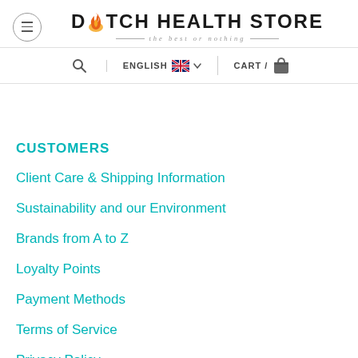DUTCH HEALTH STORE — the best or nothing
CUSTOMERS
Client Care & Shipping Information
Sustainability and our Environment
Brands from A to Z
Loyalty Points
Payment Methods
Terms of Service
Privacy Policy
Become a Partner